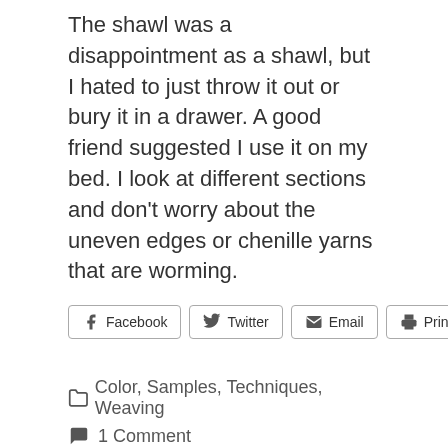The shawl was a disappointment as a shawl, but I hated to just throw it out or bury it in a drawer. A good friend suggested I use it on my bed. I look at different sections and don't worry about the uneven edges or chenille yarns that are worming.
[Figure (other): Social sharing buttons: Facebook, Twitter, Email, Print]
Color, Samples, Techniques, Weaving
1 Comment
Weaver's Block? Try a Sampler: Sample or Sampler?